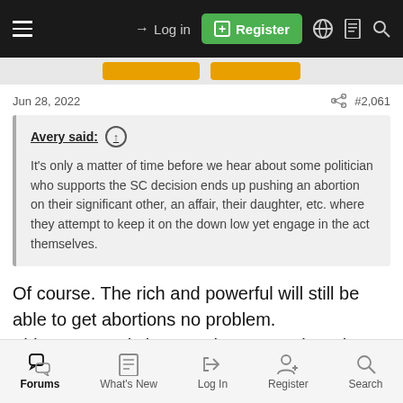Log in | Register
Jun 28, 2022  #2,061
Avery said: ↑
It's only a matter of time before we hear about some politician who supports the SC decision ends up pushing an abortion on their significant other, an affair, their daughter, etc. where they attempt to keep it on the down low yet engage in the act themselves.
Of course. The rich and powerful will still be able to get abortions no problem.
This was mostly just another way to hurt the poors. Which of course will end up hurting us all in the long run with more poverty, crime,
Forums | What's New | Log In | Register | Search